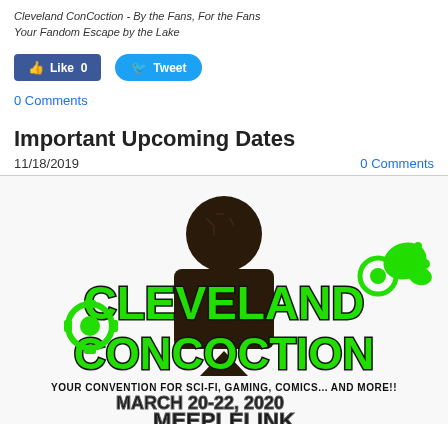Cleveland ConCoction - By the Fans, For the Fans
Your Fandom Escape by the Lake
[Figure (other): Facebook Like button (0 likes) and Twitter Tweet button]
0 Comments
Important Upcoming Dates
11/18/2019
0 Comments
[Figure (logo): Cleveland ConCoction logo - green gear-styled lettering on dark background with robot silhouette. Text: YOUR CONVENTION FOR SCI-FI, GAMING, COMICS... AND MORE!! MARCH 20-22, 2020 MEEPLELINK]